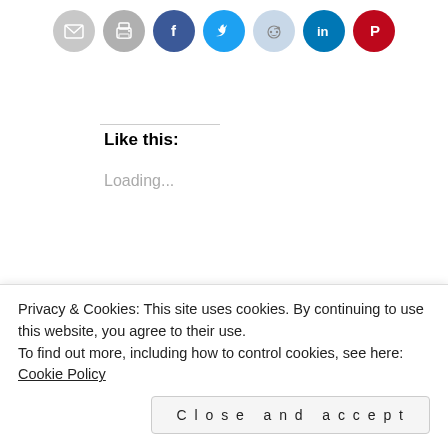[Figure (other): Row of social sharing icon buttons: email (grey), print (grey), Facebook (blue), Twitter (cyan), Reddit (light blue), LinkedIn (teal), Pinterest (red)]
Like this:
Loading...
Related
[Figure (photo): Everest (2015) - mountain climber on snowy peak at sunset]
Everest (2015)
[Figure (photo): Kon-Tiki (2012) - underwater ocean scene]
Kon-Tiki (2012)
Privacy & Cookies: This site uses cookies. By continuing to use this website, you agree to their use. To find out more, including how to control cookies, see here: Cookie Policy
Close and accept